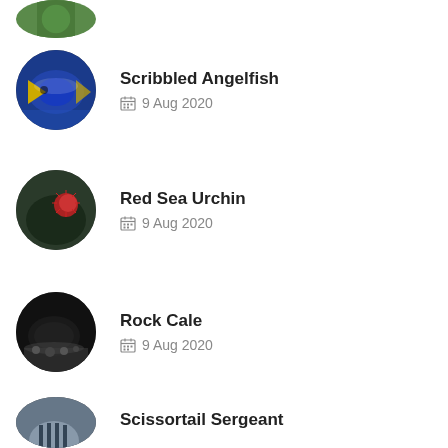Scribbled Angelfish — 9 Aug 2020
Red Sea Urchin — 9 Aug 2020
Rock Cale — 9 Aug 2020
Bengal Sergeant — 9 Aug 2020
Scissortail Sergeant